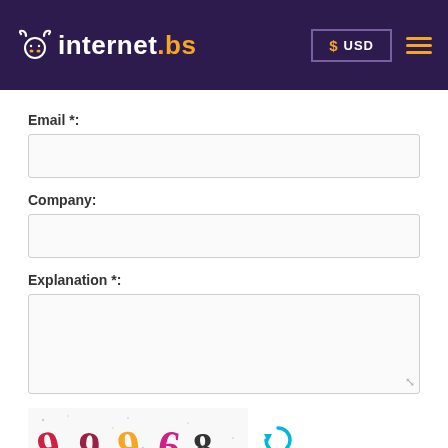[Figure (logo): internet.bs logo with bull horns icon on dark purple header background, USD currency button, and hamburger menu icon]
Email *:
[Figure (screenshot): Empty email text input field]
Company:
[Figure (screenshot): Empty company text input field]
Explanation *:
[Figure (screenshot): Empty explanation textarea field]
[Figure (infographic): CAPTCHA image showing digits 9, 9, 9, 6, 8 in colorful decorative fonts with speckled background, followed by a cyan refresh/reload icon]
Security Code *: